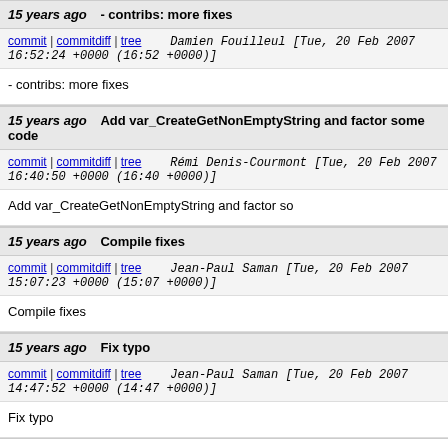15 years ago - contribs: more fixes
commit | commitdiff | tree   Damien Fouilleul [Tue, 20 Feb 2007 16:52:24 +0000 (16:52 +0000)]
- contribs: more fixes
15 years ago   Add var_CreateGetNonEmptyString and factor some code
commit | commitdiff | tree   Rémi Denis-Courmont [Tue, 20 Feb 2007 16:40:50 +0000 (16:40 +0000)]
Add var_CreateGetNonEmptyString and factor so
15 years ago   Compile fixes
commit | commitdiff | tree   Jean-Paul Saman [Tue, 20 Feb 2007 15:07:23 +0000 (15:07 +0000)]
Compile fixes
15 years ago   Fix typo
commit | commitdiff | tree   Jean-Paul Saman [Tue, 20 Feb 2007 14:47:52 +0000 (14:47 +0000)]
Fix typo